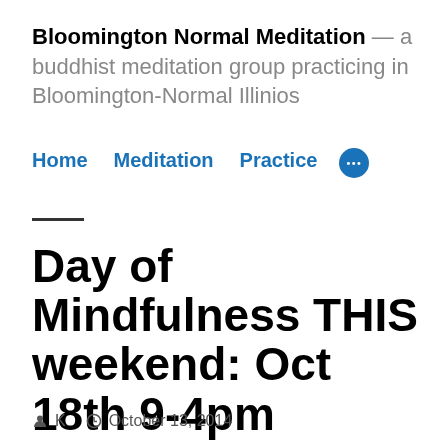Bloomington Normal Meditation — a buddhist meditation group practicing in Bloomington-Normal Illinios
Home   Meditation   Practice   •••
Day of Mindfulness THIS weekend: Oct 18th 9-4pm
K   October 13, 2014